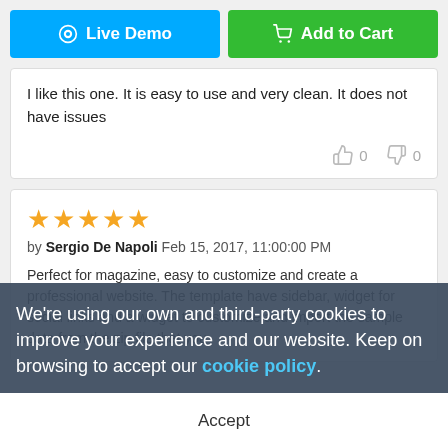Live Demo
Add to Cart
I like this one. It is easy to use and very clean. It does not have issues
0   0
★★★★★
by Sergio De Napoli  Feb 15, 2017, 11:00:00 PM
Perfect for magazine, easy to customize and create a professional website. The template have sidebar, widget for social links and a widget to customize and import the sample data from the zip file that you
We're using our own and third-party cookies to improve your experience and our website. Keep on browsing to accept our cookie policy.
Accept